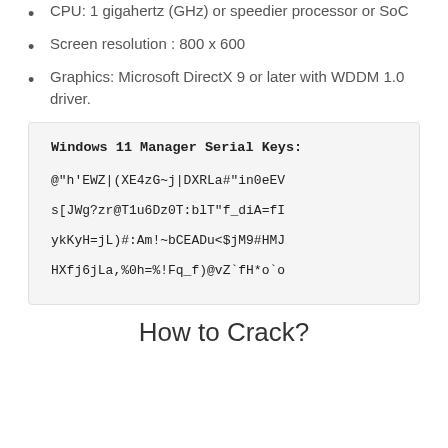CPU: 1 gigahertz (GHz) or speedier processor or SoC
Screen resolution : 800 x 600
Graphics: Microsoft DirectX 9 or later with WDDM 1.0 driver.
Windows 11 Manager Serial Keys:
@"h'EWZ|(XE4zG~j|DXRLa#"in0eEV
s[JWg?zr@T1u6Dz0T:blT"f_diA=fI
ykKyH=jL)#:Am!~bCEADu<$jM9#HMJ
HXfj6jLa,%0h=%!Fq_f)@vZ`fH*o`o
How to Crack?